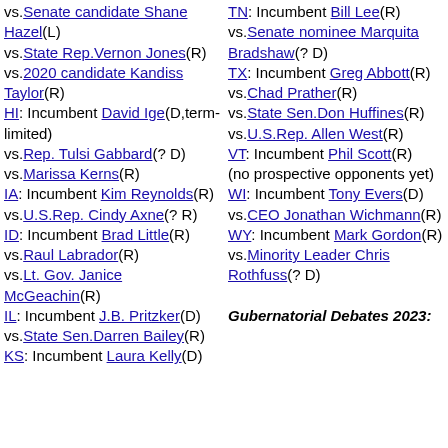vs.Senate candidate Shane Hazel(L) vs.State Rep.Vernon Jones(R) vs.2020 candidate Kandiss Taylor(R) HI: Incumbent David Ige(D,term-limited) vs.Rep. Tulsi Gabbard(? D) vs.Marissa Kerns(R) IA: Incumbent Kim Reynolds(R) vs.U.S.Rep. Cindy Axne(? R) ID: Incumbent Brad Little(R) vs.Raul Labrador(R) vs.Lt. Gov. Janice McGeachin(R) IL: Incumbent J.B. Pritzker(D) vs.State Sen.Darren Bailey(R) KS: Incumbent Laura Kelly(D)
TN: Incumbent Bill Lee(R) vs.Senate nominee Marquita Bradshaw(? D) TX: Incumbent Greg Abbott(R) vs.Chad Prather(R) vs.State Sen.Don Huffines(R) vs.U.S.Rep. Allen West(R) VT: Incumbent Phil Scott(R) (no prospective opponents yet) WI: Incumbent Tony Evers(D) vs.CEO Jonathan Wichmann(R) WY: Incumbent Mark Gordon(R) vs.Minority Leader Chris Rothfuss(? D) Gubernatorial Debates 2023: